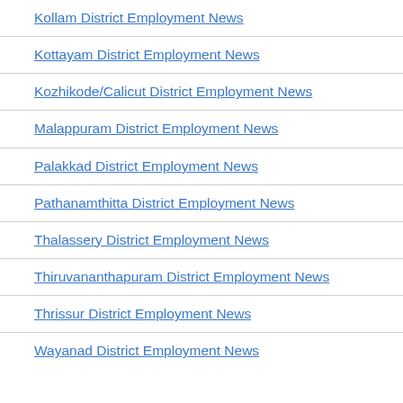Kollam District Employment News
Kottayam District Employment News
Kozhikode/Calicut District Employment News
Malappuram District Employment News
Palakkad District Employment News
Pathanamthitta District Employment News
Thalassery District Employment News
Thiruvananthapuram District Employment News
Thrissur District Employment News
Wayanad District Employment News